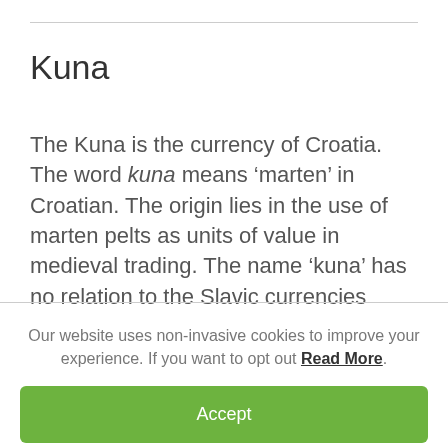Kuna
The Kuna is the currency of Croatia. The word kuna means ‘marten’ in Croatian. The origin lies in the use of marten pelts as units of value in medieval trading. The name ‘kuna’ has no relation to the Slavic currencies called ‘koruna’.
Our website uses non-invasive cookies to improve your experience. If you want to opt out Read More.
Accept